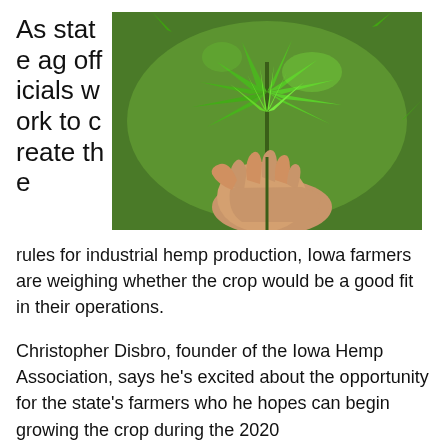As state ag officials work to create the rules for industrial hemp production, Iowa farmers are weighing whether the crop would be a good fit in their operations.
[Figure (photo): A hand holding a hemp plant with large green leaves against a background of green hemp foliage]
Christopher Disbro, founder of the Iowa Hemp Association, says he's excited about the opportunity for the state's farmers who he hopes can begin growing the crop during the 2020